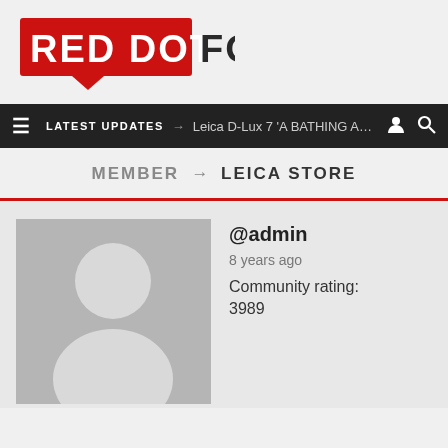[Figure (logo): Red Dot Forum logo: red speech bubble box containing 'RED DOT' in white bold text, followed by 'FORUM' in dark bold text]
LATEST UPDATES → Leica D-Lux 7 'A BATHING APE x ...
MEMBER → LEICA STORE
[Figure (photo): Default user avatar: grey background with white silhouette of a person (head circle and shoulders)]
@admin
8 years ago
Community rating: 3989